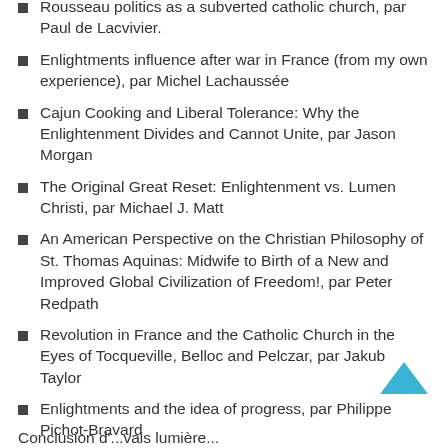Rousseau politics as a subverted catholic church, par Paul de Lacvivier.
Enlightments influence after war in France (from my own experience), par Michel Lachaussée
Cajun Cooking and Liberal Tolerance: Why the Enlightenment Divides and Cannot Unite, par Jason Morgan
The Original Great Reset: Enlightenment vs. Lumen Christi, par Michael J. Matt
An American Perspective on the Christian Philosophy of St. Thomas Aquinas: Midwife to Birth of a New and Improved Global Civilization of Freedom!, par Peter Redpath
Revolution in France and the Catholic Church in the Eyes of Tocqueville, Belloc and Pelczar, par Jakub Taylor
Enlightments and the idea of progress, par Philippe Pichot-Bravard
Enlightments and laicity, par Guillaume de Thieulloy
Conclusion d'...vais lumière...